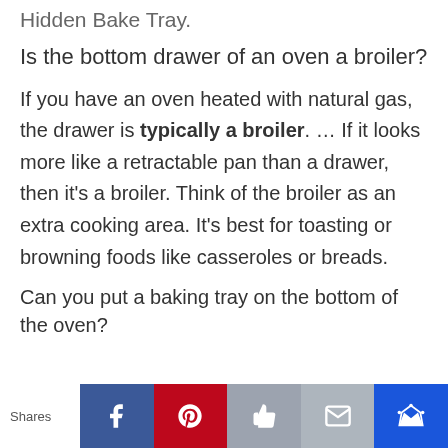Hidden Bake Tray.
Is the bottom drawer of an oven a broiler?
If you have an oven heated with natural gas, the drawer is typically a broiler. … If it looks more like a retractable pan than a drawer, then it's a broiler. Think of the broiler as an extra cooking area. It's best for toasting or browning foods like casseroles or breads.
Can you put a baking tray on the bottom of the oven?